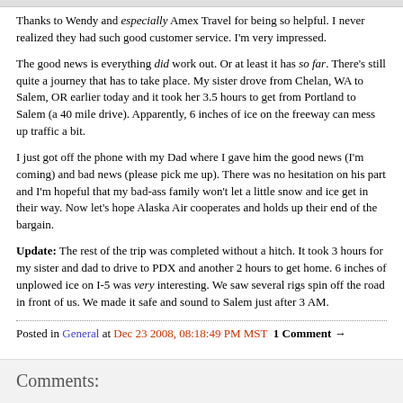Thanks to Wendy and especially Amex Travel for being so helpful. I never realized they had such good customer service. I'm very impressed.
The good news is everything did work out. Or at least it has so far. There's still quite a journey that has to take place. My sister drove from Chelan, WA to Salem, OR earlier today and it took her 3.5 hours to get from Portland to Salem (a 40 mile drive). Apparently, 6 inches of ice on the freeway can mess up traffic a bit.
I just got off the phone with my Dad where I gave him the good news (I'm coming) and bad news (please pick me up). There was no hesitation on his part and I'm hopeful that my bad-ass family won't let a little snow and ice get in their way. Now let's hope Alaska Air cooperates and holds up their end of the bargain.
Update: The rest of the trip was completed without a hitch. It took 3 hours for my sister and dad to drive to PDX and another 2 hours to get home. 6 inches of unplowed ice on I-5 was very interesting. We saw several rigs spin off the road in front of us. We made it safe and sound to Salem just after 3 AM.
Posted in General at Dec 23 2008, 08:18:49 PM MST  1 Comment →
Comments: